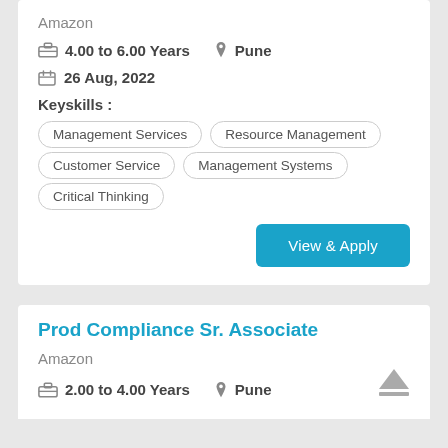Amazon
4.00 to 6.00 Years   Pune
26 Aug, 2022
Keyskills :
Management Services
Resource Management
Customer Service
Management Systems
Critical Thinking
View & Apply
Prod Compliance Sr. Associate
Amazon
2.00 to 4.00 Years   Pune